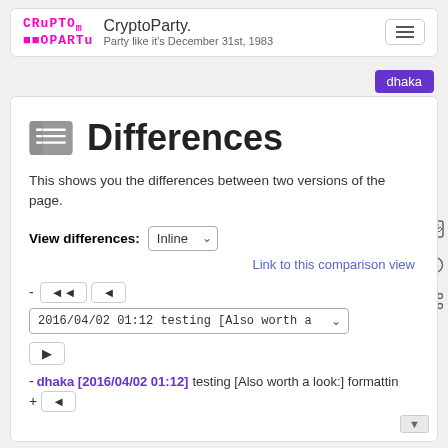CryptoParty. Party like it's December 31st, 1983
dhaka
Differences
This shows you the differences between two versions of the page.
View differences: Inline
Link to this comparison view
- ◄◄ ◄ 2016/04/02 01:12 testing [Also worth a...
►
- dhaka [2016/04/02 01:12] testing [Also worth a look:] formattin...
+ ◄